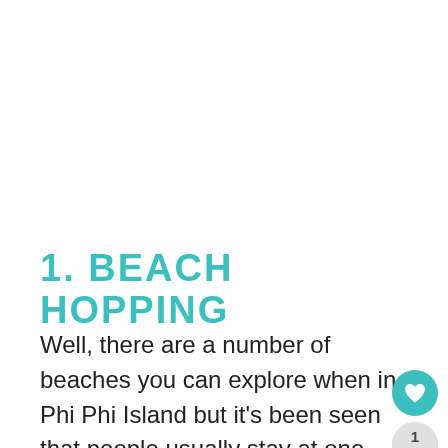1. BEACH HOPPING
Well, there are a number of beaches you can explore when in Phi Phi Island but it’s been seen that people usually stay at one place and miss to explore other gorgeous beaches that Kho Phi Phi has to offer. Many